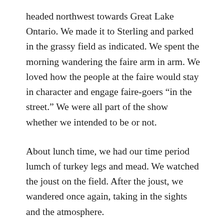headed northwest towards Great Lake Ontario. We made it to Sterling and parked in the grassy field as indicated. We spent the morning wandering the faire arm in arm. We loved how the people at the faire would stay in character and engage faire-goers “in the street.” We were all part of the show whether we intended to be or not.
About lunch time, we had our time period lumch of turkey legs and mead. We watched the joust on the field. After the joust, we wandered once again, taking in the sights and the atmosphere.
Lily and I ended up involved in a (staged) fight over some perceived slight. It had rained the night before in Sterling, so there was ample amounts of mud. It ended up being a fight in a mud pit and it was one of the best